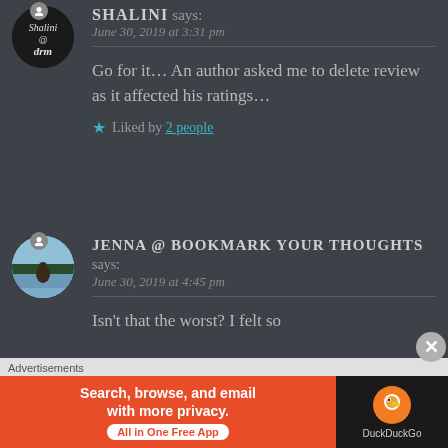[Figure (illustration): Shalini avatar - dark circle with cursive Shalini @drm text]
SHALINI says:
June 30, 2019 at 3:31 pm
Go for it… An author asked me to delete review as it affected his ratings…
Liked by 2 people
[Figure (photo): Jenna avatar - person sitting by a lake with trees in background]
JENNA @ BOOKMARK YOUR THOUGHTS says:
June 30, 2019 at 4:45 pm
Isn't that the worst? I felt so
Advertisements
[Figure (illustration): DuckDuckGo advertisement - Search, browse, and email with more privacy. All in One Free App]